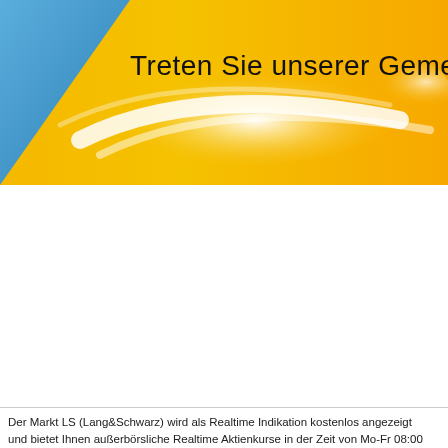[Figure (illustration): Decorative banner header with blue triangle on left, gold/yellow gradient background with white light streaks/swoosh effects, and dark text reading 'Treten Sie unserer Gemeinsha' (truncated)]
Treten Sie unserer Gemeinsha
Der Markt LS (Lang&Schwarz) wird als Realtime Indikation kostenlos angezeigt und bietet Ihnen außerbörsliche Realtime Aktienkurse in der Zeit von Mo-Fr 08:00